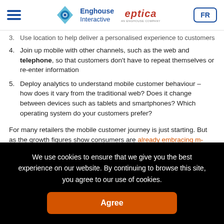Enghouse Interactive | eptica | FR
3. Use location to help deliver a personalised experience to customers
4. Join up mobile with other channels, such as the web and telephone, so that customers don’t have to repeat themselves or re-enter information
5. Deploy analytics to understand mobile customer behaviour – how does it vary from the traditional web? Does it change between devices such as tablets and smartphones? Which operating system do your customers prefer?
For many retailers the mobile customer journey is just starting. But as the growth figures show consumers are already embracing m-commerce, making the mobile customer experience critical to winning new sales and
We use cookies to ensure that we give you the best experience on our website. By continuing to browse this site, you agree to our use of cookies.
Agree